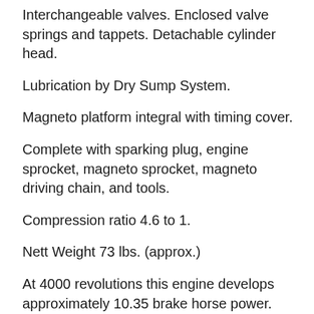Interchangeable valves. Enclosed valve springs and tappets. Detachable cylinder head.
Lubrication by Dry Sump System.
Magneto platform integral with timing cover.
Complete with sparking plug, engine sprocket, magneto sprocket, magneto driving chain, and tools.
Compression ratio 4.6 to 1.
Nett Weight 73 lbs. (approx.)
At 4000 revolutions this engine develops approximately 10.35 brake horse power.
From the factory catalogue, which also